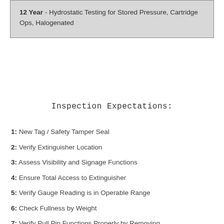12 Year - Hydrostatic Testing for Stored Pressure, Cartridge Ops, Halogenated
Inspection Expectations:
1: New Tag / Safety Tamper Seal
2: Verify Extinguisher Location
3: Assess Visibility and Signage Functions
4: Ensure Total Access to Extinguisher
5: Verify Gauge Reading is in Operable Range
6: Check Fullness by Weight
7: Verify Pull Pin Functions Properly by Removing